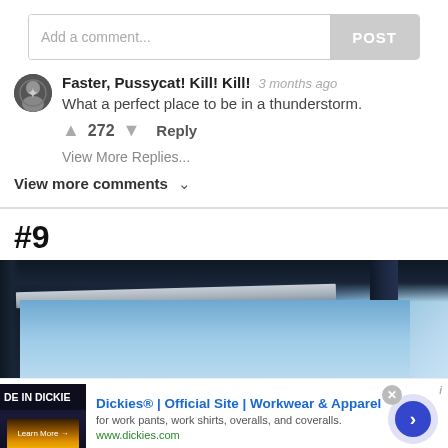Add a comment...
POST
Faster, Pussycat! Kill! Kill! 3 months ago
What a perfect place to be in a thunderstorm.
272  Reply
View More Replies...
View more comments
#9
[Figure (photo): Architectural photo showing a steel beam or roof overhang corner against a blue sky, taken from below at an angle. Dark steel frame in the foreground.]
[Figure (infographic): Advertisement for Dickies with logo image on left, text 'Dickies® | Official Site | Workwear & Apparel', description 'for work pants, work shirts, overalls, and coveralls.', url 'www.dickies.com', and a right-arrow button on the right side.]